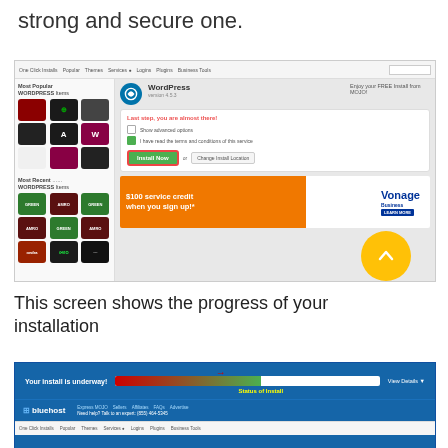strong and secure one.
[Figure (screenshot): Screenshot of a web hosting control panel showing WordPress one-click install interface with Most Popular WORDPRESS items on the left panel, WordPress install form with 'Install Now' button highlighted in red border, and a Vonage Business $100 service credit advertisement banner. A yellow circle with an up arrow is visible in the bottom right.]
This screen shows the progress of your installation
[Figure (screenshot): Screenshot of Bluehost install progress page showing 'Your install is underway!' with a progress bar partially filled and a 'Status of Install' label, along with Bluehost navigation footer with links.]